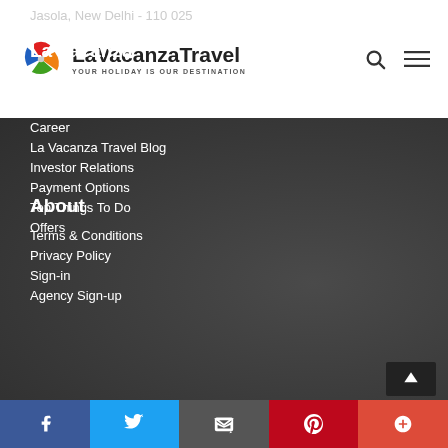[Figure (logo): LaVacanza Travel logo with colorful pinwheel icon and text 'LaVacanza Travel - YOUR HOLIDAY IS OUR DESTINATION']
Jasola, New Delhi - 110 025
La Vacanza
About us
Contact Us
Career
La Vacanza Travel Blog
Investor Relations
Payment Options
Top Things To Do
Offers
About
Terms & Conditions
Privacy Policy
Sign-in
Agency Sign-up
Facebook | Twitter | Email | Pinterest | Plus